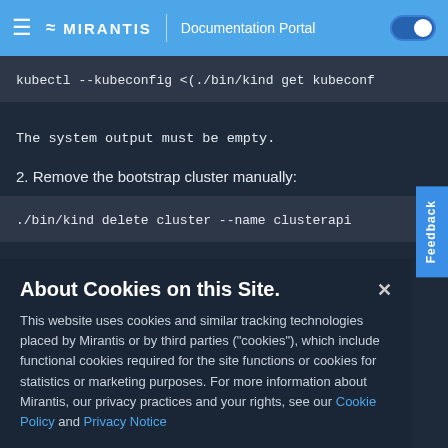≋ MIRANTIS | Documentation Portal
[Figure (screenshot): Code block showing: kubectl --kubeconfig <(./bin/kind get kubeconf]
The system output must be empty.
2. Remove the bootstrap cluster manually:
[Figure (screenshot): Code block showing: ./bin/kind delete cluster --name clusterapi]
About Cookies on this Site.
This website uses cookies and similar tracking technologies placed by Mirantis or by third parties ("cookies"), which include functional cookies required for the site functions or cookies for statistics or marketing purposes. For more information about Mirantis, our privacy practices and your rights, see our Cookie Policy and Privacy Notice